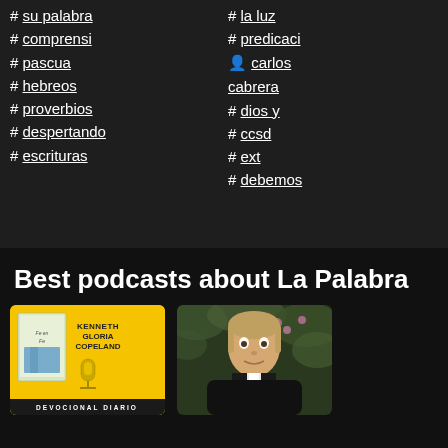# su palabra
# comprensi
# pascua
# hebreos
# proverbios
# despertando
# escrituras
# la luz
# predicaci
👤 carlos cabrera
# dios y
# ccsd
# ext
# debemos
Best podcasts about La Palabra
[Figure (photo): Podcast cover for Devocional Diario by Kenneth Gloria Copeland — yellow background with book image, microphone icon, and dark label at bottom]
[Figure (photo): Photo of a priest or pastor in dark clerical clothing with green foliage background]